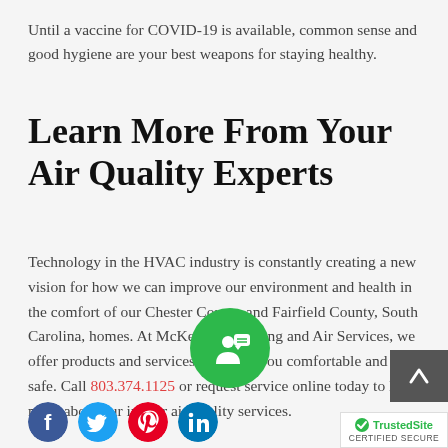Until a vaccine for COVID-19 is available, common sense and good hygiene are your best weapons for staying healthy.
Learn More From Your Air Quality Experts
Technology in the HVAC industry is constantly creating a new vision for how we can improve our environment and health in the comfort of our Chester County and Fairfield County, South Carolina, homes. At McKeown’s Heating and Air Services, we offer products and services that keep you comfortable and safe. Call 803.374.1125 or request service online today to learn more about our indoor air quality services.
[Figure (other): Green circular chat/support button with person and speech bubble icon]
[Figure (other): Gray scroll-to-top button with upward arrow]
[Figure (logo): TrustedSite Certified Secure badge]
[Figure (other): Row of social media icons: Facebook (blue), Twitter (light blue), Pinterest (red), LinkedIn (blue)]